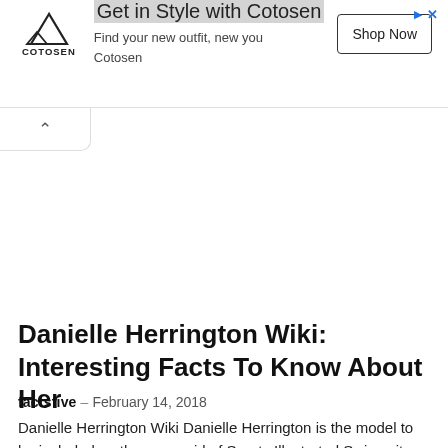[Figure (other): Cotosen advertisement banner with mountain logo, headline 'Get in Style with Cotosen', subtitle 'Find your new outfit, new you Cotosen', and a 'Shop Now' button. Top-right shows ad icons (arrow and X).]
Danielle Herrington Wiki: Interesting Facts To Know About Her
factsfive – February 14, 2018
Danielle Herrington Wiki Danielle Herrington is the model to be included on the cover girl of Sports Illustrated Swimsuit issue for 2018.